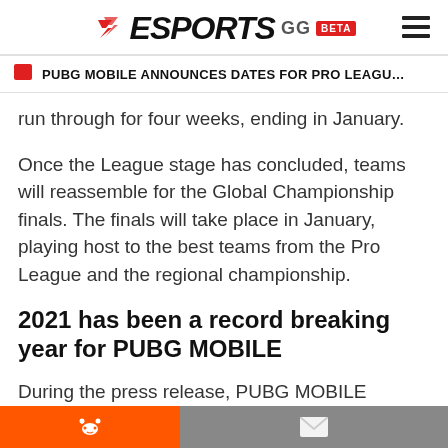ESPORTS GG BETA
PUBG MOBILE ANNOUNCES DATES FOR PRO LEAGUE AND GLOBAL...
run through for four weeks, ending in January.
Once the League stage has concluded, teams will reassemble for the Global Championship finals. The finals will take place in January, playing host to the best teams from the Pro League and the regional championship.
2021 has been a record breaking year for PUBG MOBILE
During the press release, PUBG MOBILE Esports released some of the incredible figures. These figures will showcase th...